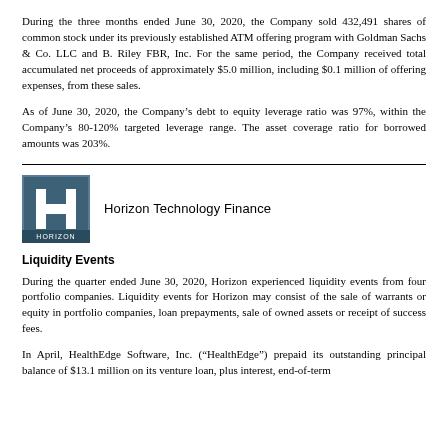During the three months ended June 30, 2020, the Company sold 432,491 shares of common stock under its previously established ATM offering program with Goldman Sachs & Co. LLC and B. Riley FBR, Inc. For the same period, the Company received total accumulated net proceeds of approximately $5.0 million, including $0.1 million of offering expenses, from these sales.
As of June 30, 2020, the Company’s debt to equity leverage ratio was 97%, within the Company’s 80-120% targeted leverage range. The asset coverage ratio for borrowed amounts was 203%.
[Figure (logo): Horizon Technology Finance logo: square icon with letter H in white on dark blue/grey background, followed by text 'Horizon Technology Finance']
Liquidity Events
During the quarter ended June 30, 2020, Horizon experienced liquidity events from four portfolio companies. Liquidity events for Horizon may consist of the sale of warrants or equity in portfolio companies, loan prepayments, sale of owned assets or receipt of success fees.
In April, HealthEdge Software, Inc. (“HealthEdge”) prepaid its outstanding principal balance of $13.1 million on its venture loan, plus interest, end-of-term